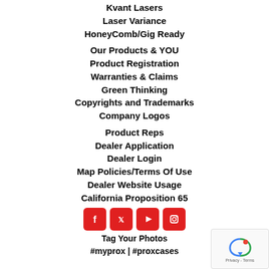Kvant Lasers
Laser Variance
HoneyComb/Gig Ready
Our Products & YOU
Product Registration
Warranties & Claims
Green Thinking
Copyrights and Trademarks
Company Logos
Product Reps
Dealer Application
Dealer Login
Map Policies/Terms Of Use
Dealer Website Usage
California Proposition 65
[Figure (infographic): Social media icons row: Facebook, Twitter, YouTube, Instagram (red squares with white icons)]
Tag Your Photos
#myprox | #proxcases